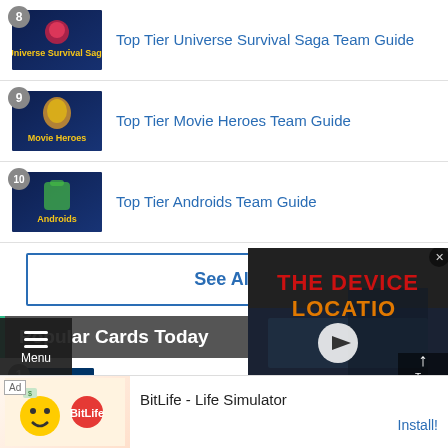8 Top Tier Universe Survival Saga Team Guide
9 Top Tier Movie Heroes Team Guide
10 Top Tier Androids Team Guide
See All
Popular Cards Today
1 Awakened UR Azure Glow Saiyan God SS Vegito
SSR The Final Trump
[Figure (screenshot): Video overlay showing 'THE DEVICE LOCATION' title text in red and orange with a play button, set in a dark sci-fi environment]
[Figure (screenshot): Menu/hamburger button overlay at bottom left]
[Figure (screenshot): BitLife - Life Simulator advertisement banner at bottom with Install button]